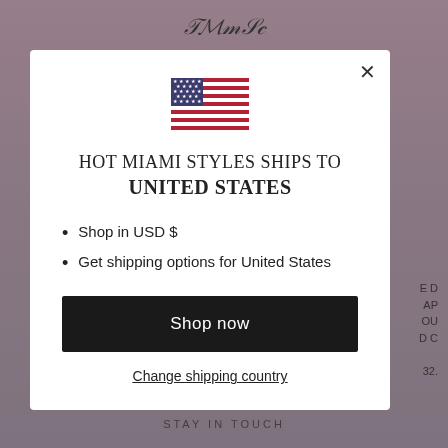[Figure (screenshot): Website background showing a fashion/clothing website (Hot Miami Styles) with a pink/mauve gradient background, navigation header with logo, and partial product images on left and right edges.]
[Figure (illustration): US flag icon displayed at the top-center of the modal dialog.]
HOT MIAMI STYLES SHIPS TO UNITED STATES
Shop in USD $
Get shipping options for United States
Shop now
Change shipping country